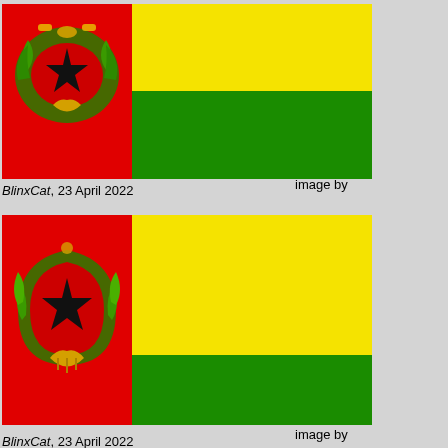[Figure (illustration): Flag with red vertical band on left containing emblem (black star within green wreath/crest), yellow upper-right quadrant and green lower-right quadrant]
image by BlinxCat, 23 April 2022
[Figure (illustration): Larger version of same flag with red vertical band on left containing emblem (black star within green horseshoe wreath with shell), yellow upper-right quadrant and green lower-right quadrant]
image by BlinxCat, 23 April 2022